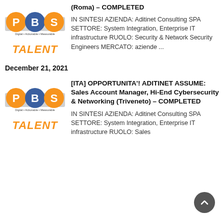[Figure (logo): PBS Talent logo with orange P, blue B, orange S circles, 'Digital • Actionable • Measurable' tagline, and orange italic TALENT text]
(Roma) – COMPLETED
IN SINTESI AZIENDA: Aditinet Consulting SPA SETTORE: System Integration, Enterprise IT infrastructure RUOLO: Security & Network Security Engineers MERCATO: aziende ...
December 21, 2021
[Figure (logo): PBS Talent logo with orange P, blue B, orange S circles, 'Digital • Actionable • Measurable' tagline, and orange italic TALENT text]
[ITA] OPPORTUNITA'! ADITINET ASSUME: Sales Account Manager, Hi-End Cybersecurity & Networking (Triveneto) – COMPLETED
IN SINTESI AZIENDA: Aditinet Consulting SPA SETTORE: System Integration, Enterprise IT infrastructure RUOLO: Sales